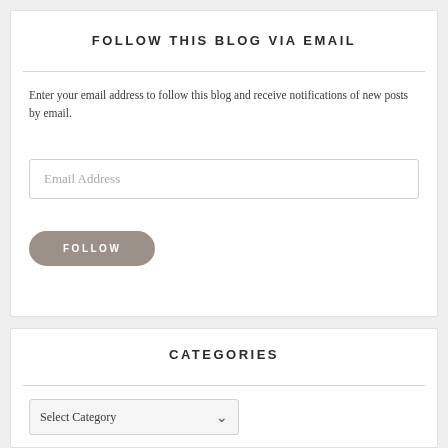FOLLOW THIS BLOG VIA EMAIL
Enter your email address to follow this blog and receive notifications of new posts by email.
Email Address
FOLLOW
CATEGORIES
Select Category